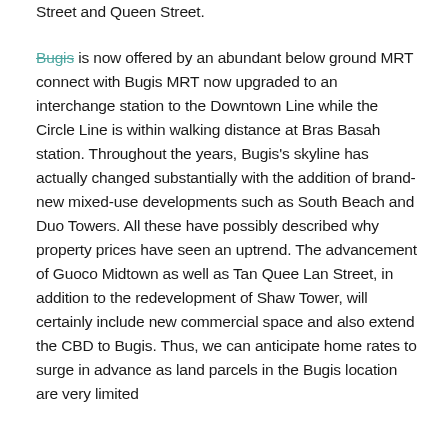Street and Queen Street.
Bugis is now offered by an abundant below ground MRT connect with Bugis MRT now upgraded to an interchange station to the Downtown Line while the Circle Line is within walking distance at Bras Basah station. Throughout the years, Bugis's skyline has actually changed substantially with the addition of brand-new mixed-use developments such as South Beach and Duo Towers. All these have possibly described why property prices have seen an uptrend. The advancement of Guoco Midtown as well as Tan Quee Lan Street, in addition to the redevelopment of Shaw Tower, will certainly include new commercial space and also extend the CBD to Bugis. Thus, we can anticipate home rates to surge in advance as land parcels in the Bugis location are very limited